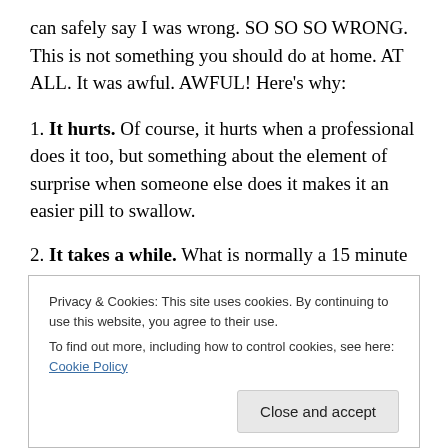can safely say I was wrong. SO SO SO WRONG. This is not something you should do at home. AT ALL. It was awful. AWFUL! Here’s why:
1. It hurts. Of course, it hurts when a professional does it too, but something about the element of surprise when someone else does it makes it an easier pill to swallow.
2. It takes a while. What is normally a 15 minute blip in my lunch break took me 25 minutes to get it right (insert more pain here). Slow is definitely not the way to get this done.
Privacy & Cookies: This site uses cookies. By continuing to use this website, you agree to their use. To find out more, including how to control cookies, see here: Cookie Policy